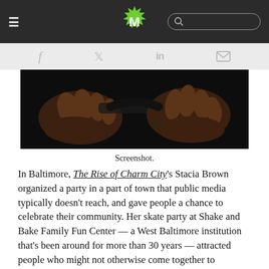M (logo) — navigation bar with hamburger menu and search
[Figure (other): Social share bar with Facebook, Twitter, LinkedIn, and email icons]
[Figure (photo): Close-up photo of dark-skinned hands holding what appears to be a mechanical or skating-related object, dark background]
Screenshot.
In Baltimore, The Rise of Charm City's Stacia Brown organized a party in a part of town that public media typically doesn't reach, and gave people a chance to celebrate their community. Her skate party at Shake and Bake Family Fun Center — a West Baltimore institution that's been around for more than 30 years — attracted people who might not otherwise come together to celebrate, Brown said: “Some listeners have expressed to us that their minds have been changed about visiting places they had previously prejudged, like Shake and Bake.